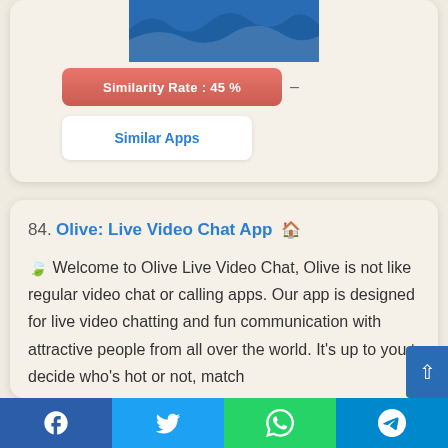[Figure (other): Blue image area with wave/logo shape at top of card]
Similarity Rate : 45 %
Similar Apps
84. Olive: Live Video Chat App — 🍃 Welcome to Olive Live Video Chat, Olive is not like regular video chat or calling apps. Our app is designed for live video chatting and fun communication with attractive people from all over the world. It's up to you to decide who's hot or not, match